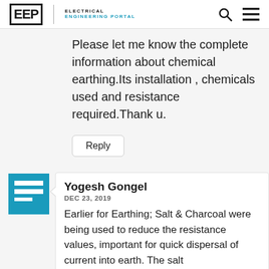EEP | ELECTRICAL ENGINEERING PORTAL
Please let me know the complete information about chemical earthing.Its installation , chemicals used and resistance required.Thank u.
Reply
Yogesh Gongel
DEC 23, 2019
Earlier for Earthing; Salt & Charcoal were being used to reduce the resistance values, important for quick dispersal of current into earth. The salt